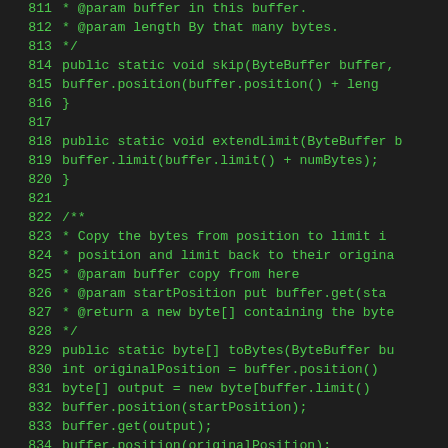Code listing lines 811-839, Java source code showing ByteBuffer utility methods: skip, extendLimit, toBytes
[Figure (screenshot): Java source code snippet with green monospace text on dark background, showing lines 811-839 with methods skip(), extendLimit(), and toBytes() operating on ByteBuffer objects]